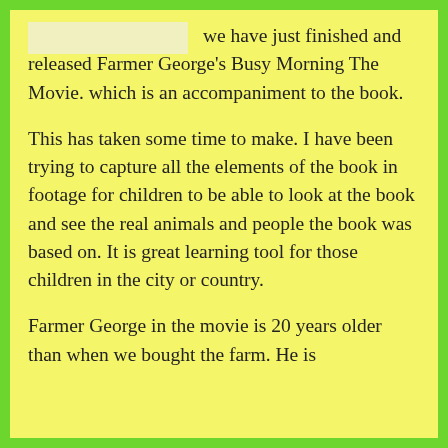[Figure (other): A light yellow/cream colored rectangular placeholder box in the top-left area of the content]
we have just finished and released Farmer George's Busy Morning The Movie. which is an accompaniment to the book.
This has taken some time to make. I have been trying to capture all the elements of the book in footage for children to be able to look at the book and see the real animals and people the book was based on. It is great learning tool for those children in the city or country.
Farmer George in the movie is 20 years older than when we bought the farm. He is